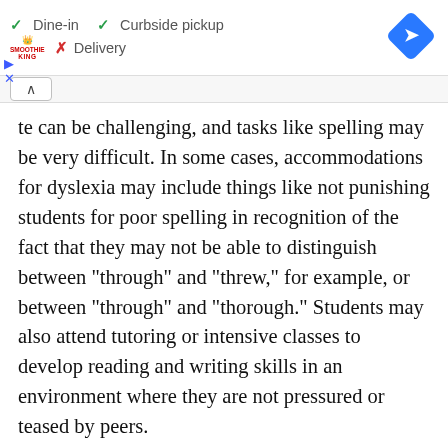[Figure (screenshot): Ad banner showing Smoothie King logo with dine-in, curbside pickup, and delivery options, and a blue navigation diamond icon]
te can be challenging, and tasks like spelling may be very difficult. In some cases, accommodations for dyslexia may include things like not punishing students for poor spelling in recognition of the fact that they may not be able to distinguish between "through" and "threw," for example, or between "through" and "thorough." Students may also attend tutoring or intensive classes to develop reading and writing skills in an environment where they are not pressured or teased by peers.